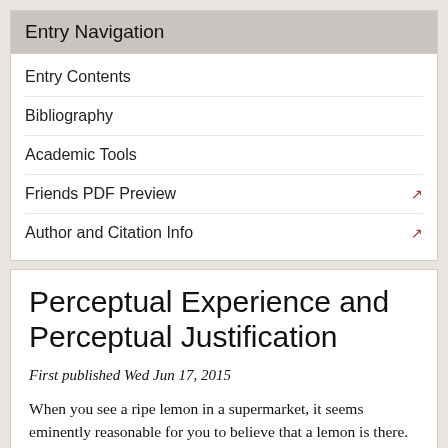Entry Navigation
Entry Contents
Bibliography
Academic Tools
Friends PDF Preview
Author and Citation Info
Perceptual Experience and Perceptual Justification
First published Wed Jun 17, 2015
When you see a ripe lemon in a supermarket, it seems eminently reasonable for you to believe that a lemon is there. Here you have a perceptual experience since you consciously see something yellow. And your experience